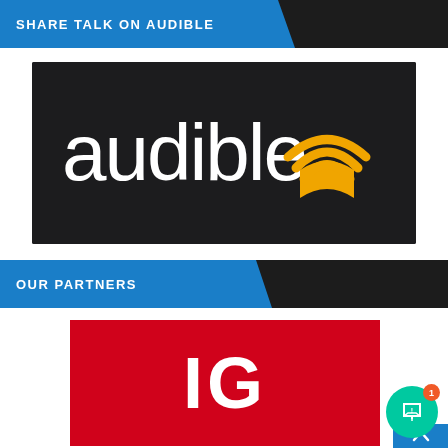[Figure (logo): Dark strip at top of page with partial photo]
SHARE TALK ON AUDIBLE
[Figure (logo): Audible logo on dark background with orange headphones/wifi icon and white 'audible' wordmark]
OUR PARTNERS
[Figure (logo): IG logo in white bold text on red background]